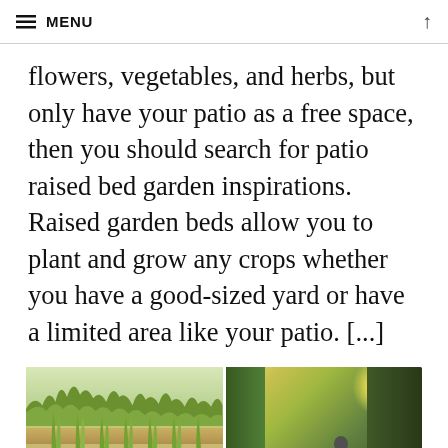≡ MENU ↑
flowers, vegetables, and herbs, but only have your patio as a free space, then you should search for patio raised bed garden inspirations. Raised garden beds allow you to plant and grow any crops whether you have a good-sized yard or have a limited area like your patio. [...]
[Figure (photo): Two photos of raised garden beds side by side. Left photo shows a long rectangular metal/wood raised planter with ornamental grasses, against a backdrop of trees and open sky. Right photo shows circular Corten steel raised planters with various plants and greenery in a patio setting.]